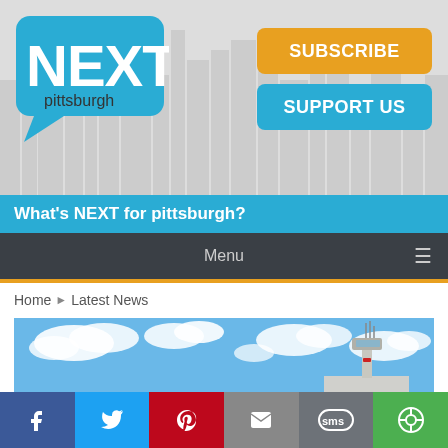[Figure (screenshot): NEXT Pittsburgh website header with logo, subscribe and support buttons, tagline bar, menu bar, breadcrumb, airport photo, and social sharing bar]
What's NEXT for pittsburgh?
Menu
Home > Latest News